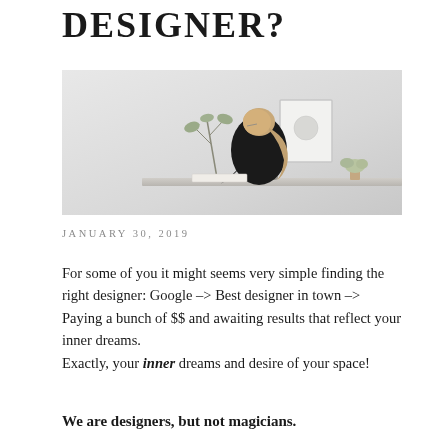DESIGNER?
[Figure (photo): Woman with long ponytail sitting at a desk from behind, working on something, with a framed artwork and a small plant on the desk, minimalist light background]
JANUARY 30, 2019
For some of you it might seems very simple finding the right designer: Google –> Best designer in town –> Paying a bunch of $$ and awaiting results that reflect your inner dreams.
Exactly, your inner dreams and desire of your space!
We are designers, but not magicians.